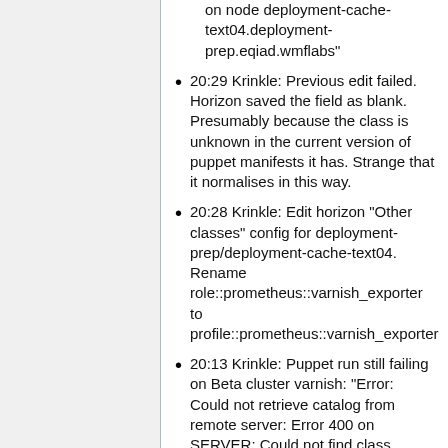on node deployment-cache-text04.deployment-prep.eqiad.wmflabs"
20:29 Krinkle: Previous edit failed. Horizon saved the field as blank. Presumably because the class is unknown in the current version of puppet manifests it has. Strange that it normalises in this way.
20:28 Krinkle: Edit horizon "Other classes" config for deployment-prep/deployment-cache-text04. Rename role::prometheus::varnish_exporter to profile::prometheus::varnish_exporter
20:13 Krinkle: Puppet run still failing on Beta cluster varnish: "Error: Could not retrieve catalog from remote server: Error 400 on SERVER: Could not find class…